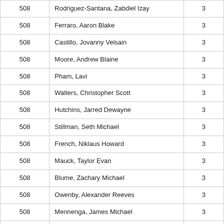| 508 | Rodriguez-Santana, Zabdiel Izay | 3 |
| 508 | Ferraro, Aaron Blake | 3 |
| 508 | Castillo, Jovanny Velsain | 3 |
| 508 | Moore, Andrew Blaine | 3 |
| 508 | Pham, Lavi | 3 |
| 508 | Walters, Christopher Scott | 3 |
| 508 | Hutchins, Jarred Dewayne | 3 |
| 508 | Stillman, Seth Michael | 3 |
| 508 | French, Niklaus Howard | 3 |
| 508 | Mauck, Taylor Evan | 3 |
| 508 | Blume, Zachary Michael | 3 |
| 508 | Owenby, Alexander Reeves | 3 |
| 508 | Mennenga, James Michael | 3 |
| 508 | Vittiglio Jr., Robert | 3 |
| 508 | Tolentino Medina, Jose Juan | 3 |
| 526 | Simon, Norlhey | 3 |
| 527 | Truong, Alex Hung | 3 |
| 528 | Jedlicka, Tyler Lee | 3 |